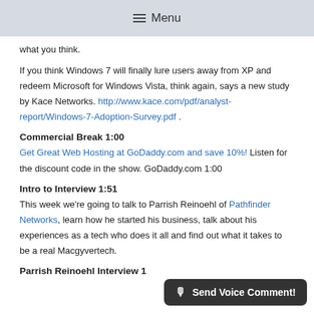≡ Menu
what you think.
If you think Windows 7 will finally lure users away from XP and redeem Microsoft for Windows Vista, think again, says a new study by Kace Networks. http://www.kace.com/pdf/analyst-report/Windows-7-Adoption-Survey.pdf .
Commercial Break 1:00
Get Great Web Hosting at GoDaddy.com and save 10%! Listen for the discount code in the show. GoDaddy.com 1:00
Intro to Interview 1:51
This week we're going to talk to Parrish Reinoehl of Pathfinder Networks, learn how he started his business, talk about his experiences as a tech who does it all and find out what it takes to be a real Macgyvertech.
Parrish Reinoehl Interview 1